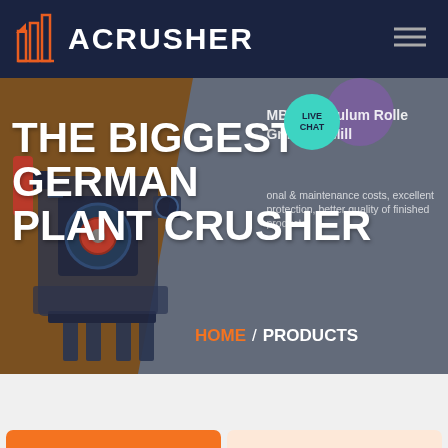ACRUSHER
THE BIGGEST GERMAN PLANT CRUSHER
MBN Pendulum Roller Grinding Mill
onal & maintenance costs, excellent protection, better quality of finished products
HOME / PRODUCTS
[Figure (screenshot): LIVE CHAT bubble badge in teal/cyan color]
[Figure (photo): Industrial plant crusher machine photo on brownish-orange hero background]
Get a Quote
WhatsApp